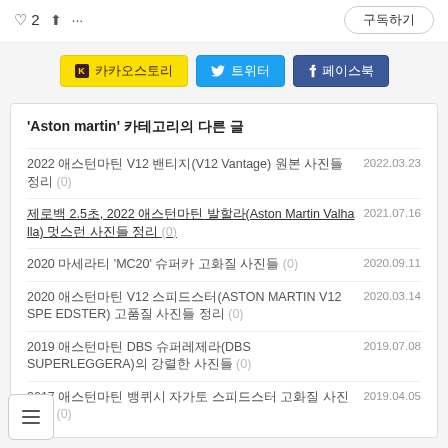♡ 2  ↑  ...   구독하기
[Figure (other): Social share buttons: 카카오스토리, 트위터, 페이스북]
'Aston martin' 카테고리의 다른 글
2022 애스턴마틴 V12 밴티지(V12 Vantage) 원본 사진들 정리  (0)   2022.03.23
제로백 2.5초, 2022 애스턴마틴 발할라(Aston Martin Valhalla) 멋스런 사진들 정리  (0)   2021.07.16
2020 마세라티 'MC20' 슈퍼카 고화질 사진들  (0)   2020.09.11
2020 애스턴마틴 V12 스피드스터(ASTON MARTIN V12 SPEEDSTER) 고품질 사진들 정리  (0)   2020.03.14
2019 애스턴마틴 DBS 슈퍼레제라(DBS SUPERLEGGERA)의 강렬한 사진들  (0)   2019.07.08
2017 애스턴마틴 뱅퀴시 자가토 스피드스터 고화질 사진 정리  (0)   2019.04.05